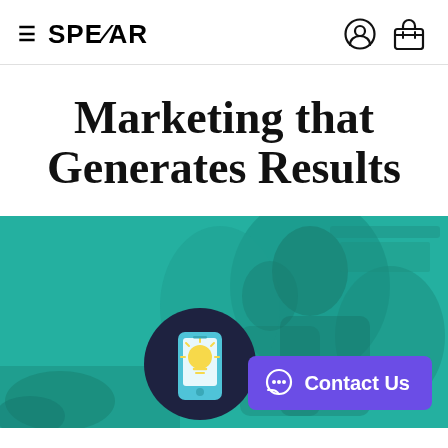≡ SPEAR
Marketing that Generates Results
[Figure (illustration): A teal/green-tinted photo of two people (adult and child) looking at something together, overlaid with a circular dark navy icon showing a smartphone with a glowing lightbulb, and a purple 'Contact Us' button in the bottom right corner.]